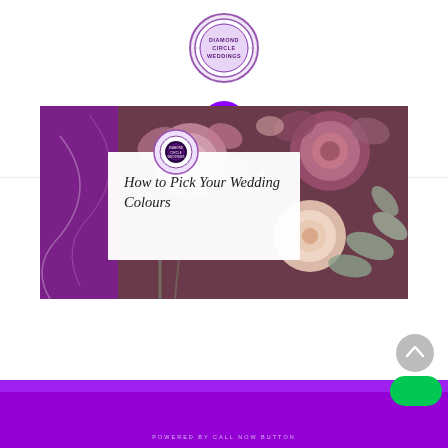[Figure (logo): Diamond Circle Weddings circular logo with purple border and text]
[Figure (screenshot): Purple hamburger menu button icon]
[Figure (photo): Wedding flowers bouquet with roses in mauve, cream and blush tones with eucalyptus leaves, overlaid with white text box reading 'How to Pick Your Wedding Colours' and Diamond Circle Weddings logo]
How to Pick Your Wedding Colours
POWERED BY CALL NOW BUTTON